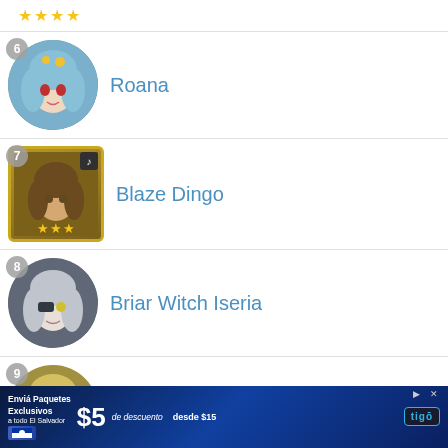6 Roana
7 Blaze Dingo
8 Briar Witch Iseria
9 Ervalen
10 Fallen Cecilia
[Figure (screenshot): Tigo advertisement banner: Enviá Paquetes Exclusivos a todo El Salvador, $5 de descuento, desde $15, Tigo logo]
Menu
Top